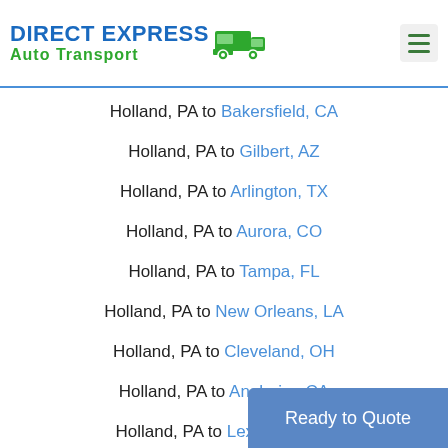DIRECT EXPRESS Auto Transport
Holland, PA to Bakersfield, CA
Holland, PA to Gilbert, AZ
Holland, PA to Arlington, TX
Holland, PA to Aurora, CO
Holland, PA to Tampa, FL
Holland, PA to New Orleans, LA
Holland, PA to Cleveland, OH
Holland, PA to Anaheim, CA
Holland, PA to Lexington, KY
Ready to Quote